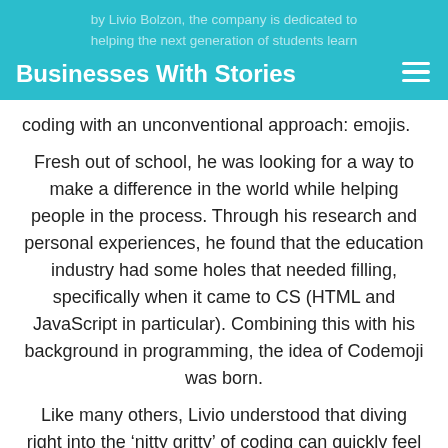Businesses With Stories
by Livio Bolzon, the company is dedicated to helping the next generation of students learn coding with an unconventional approach: emojis.
Fresh out of school, he was looking for a way to make a difference in the world while helping people in the process. Through his research and personal experiences, he found that the education industry had some holes that needed filling, specifically when it came to CS (HTML and JavaScript in particular). Combining this with his background in programming, the idea of Codemoji was born.
Like many others, Livio understood that diving right into the ‘nitty gritty’ of coding can quickly feel overwhelming to anyone trying to learn the basics,